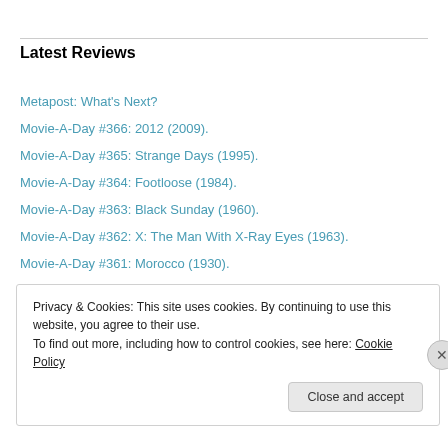Latest Reviews
Metapost: What's Next?
Movie-A-Day #366: 2012 (2009).
Movie-A-Day #365: Strange Days (1995).
Movie-A-Day #364: Footloose (1984).
Movie-A-Day #363: Black Sunday (1960).
Movie-A-Day #362: X: The Man With X-Ray Eyes (1963).
Movie-A-Day #361: Morocco (1930).
Movie-A-Day #360: Raging Bull (1980).
Movie-A-Day #359: Die Hard (1988).
Privacy & Cookies: This site uses cookies. By continuing to use this website, you agree to their use. To find out more, including how to control cookies, see here: Cookie Policy